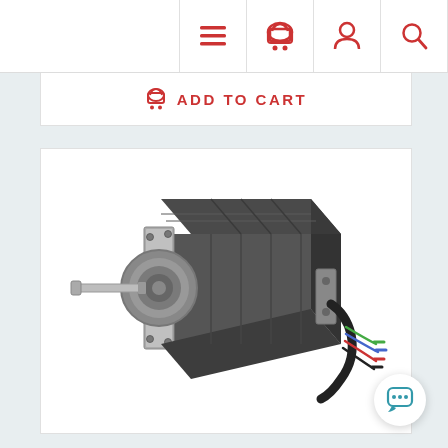Navigation bar with menu, cart, account, and search icons
ADD TO CART
[Figure (photo): A stepper motor (NEMA 34 or similar) with a silver front face plate, black body, protruding shaft on the left side, and colored wiring leads on the right side. The motor is positioned at an angle showing the front and top faces.]